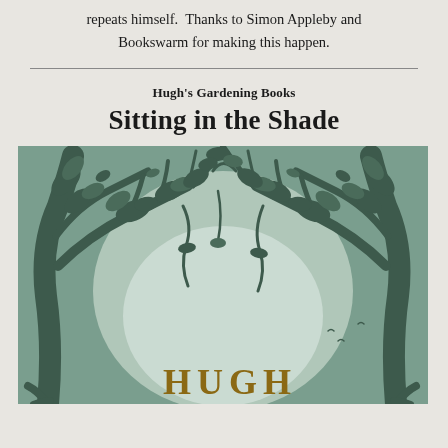repeats himself.  Thanks to Simon Appleby and Bookswarm for making this happen.
[Figure (illustration): Book cover of 'Sitting in the Shade' by Hugh, showing a green silhouette of trees with branches and leaves against a pale background, with the author name HUGH at the bottom in brown serif letters.]
Hugh's Gardening Books
Sitting in the Shade